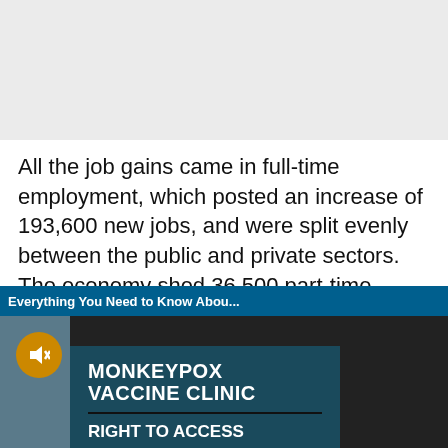[Figure (photo): Light gray advertisement banner placeholder at top of page]
All the job gains came in full-time employment, which posted an increase of 193,600 new jobs, and were split evenly between the public and private sectors. The economy shed 36,500 part-time positions.
[Figure (screenshot): Video popup overlay titled 'Everything You Need to Know Abou...' showing a Monkeypox Vaccine Clinic sign with 'RIGHT TO ACCESS' text, with mute button and close button]
est rates to a record will not consider omy has absorbed occur in the second
but to population growth, there are still 276,000 more
Sections | NY Edition | Philly | Games | Advertise | Sign Up